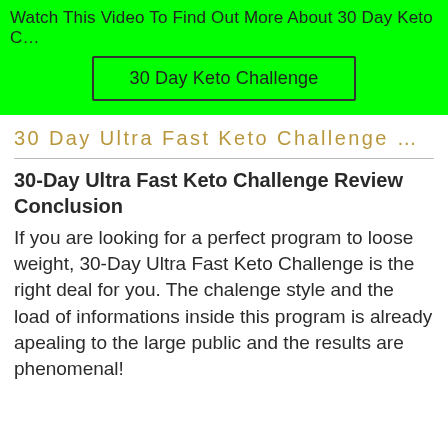Watch This Video To Find Out More About 30 Day Keto C…
30 Day Keto Challenge
30 Day Ultra Fast Keto Challenge …
30-Day Ultra Fast Keto Challenge Review Conclusion
If you are looking for a perfect program to loose weight, 30-Day Ultra Fast Keto Challenge is the right deal for you. The chalenge style and the load of informations inside this program is already apealing to the large public and the results are phenomenal!